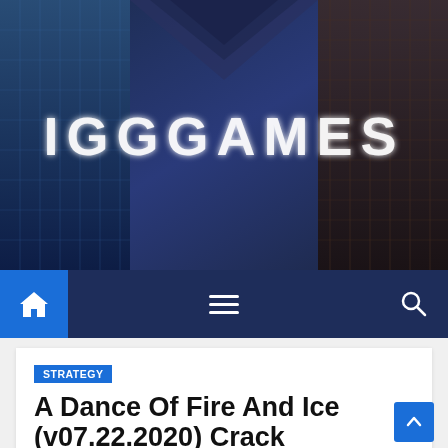[Figure (screenshot): IGG Games website banner with dark blue and brown building background, 'IGGGAMES' text logo in white glowing letters]
[Figure (screenshot): Dark navy navigation bar with blue home icon button on left, hamburger menu in center, search icon on right]
STRATEGY
A Dance Of Fire And Ice (v07.22.2020) Crack Download